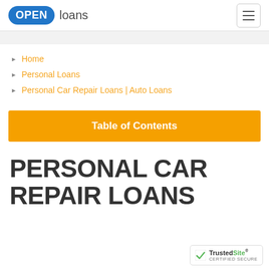OPEN loans
Home
Personal Loans
Personal Car Repair Loans | Auto Loans
Table of Contents
PERSONAL CAR REPAIR LOANS